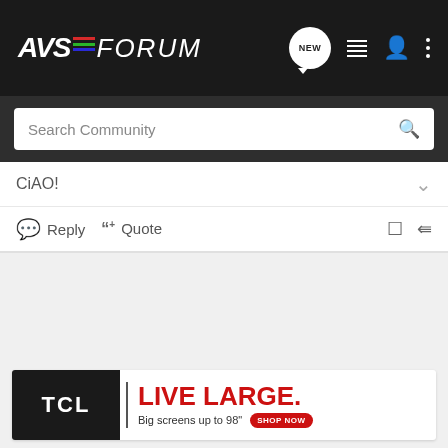AVSForum
Search Community
CiAO!
Reply  Quote
[Figure (screenshot): Empty light gray content area]
[Figure (other): TCL advertisement banner: TCL | LIVE LARGE. Big screens up to 98" SHOP NOW]